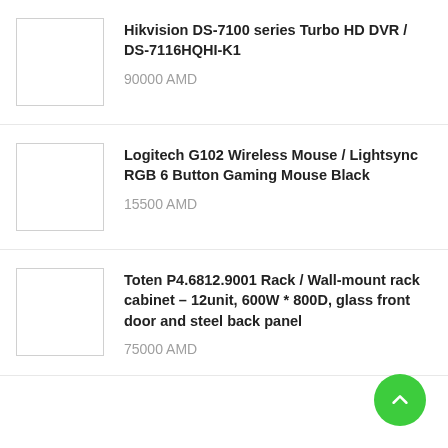Hikvision DS-7100 series Turbo HD DVR / DS-7116HQHI-K1
90000 AMD
Logitech G102 Wireless Mouse / Lightsync RGB 6 Button Gaming Mouse Black
15500 AMD
Toten P4.6812.9001 Rack / Wall-mount rack cabinet – 12unit, 600W * 800D, glass front door and steel back panel
75000 AMD